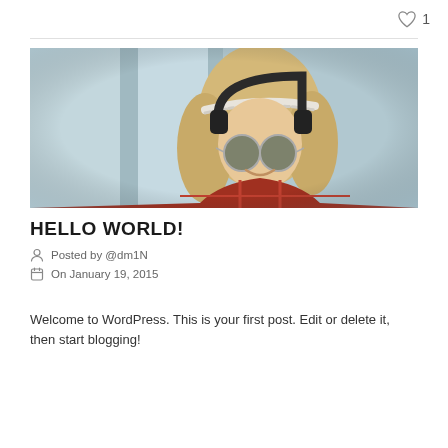[Figure (other): Heart/like icon with count 1 in top right corner]
[Figure (photo): Young woman with blonde hair wearing round sunglasses and large headphones, smiling, with a bohemian style headband. Cool toned background.]
HELLO WORLD!
Posted by @dm1N
On January 19, 2015
Welcome to WordPress. This is your first post. Edit or delete it, then start blogging!